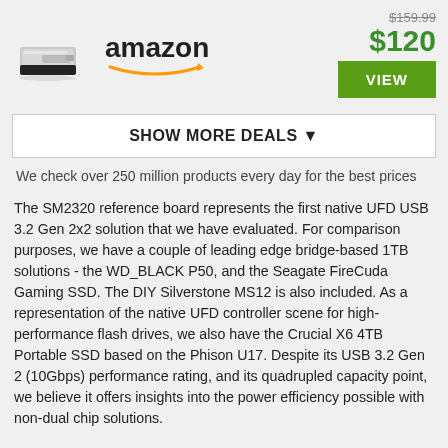[Figure (photo): Product image of a portable SSD drive (Samsung-style), small rectangular device with black and silver casing]
[Figure (logo): Amazon logo in black text with orange arrow smile underneath]
$159.99
$120
VIEW
SHOW MORE DEALS ▼
We check over 250 million products every day for the best prices
The SM2320 reference board represents the first native UFD USB 3.2 Gen 2x2 solution that we have evaluated. For comparison purposes, we have a couple of leading edge bridge-based 1TB solutions - the WD_BLACK P50, and the Seagate FireCuda Gaming SSD. The DIY Silverstone MS12 is also included. As a representation of the native UFD controller scene for high-performance flash drives, we also have the Crucial X6 4TB Portable SSD based on the Phison U17. Despite its USB 3.2 Gen 2 (10Gbps) performance rating, and its quadrupled capacity point, we believe it offers insights into the power efficiency possible with non-dual chip solutions.